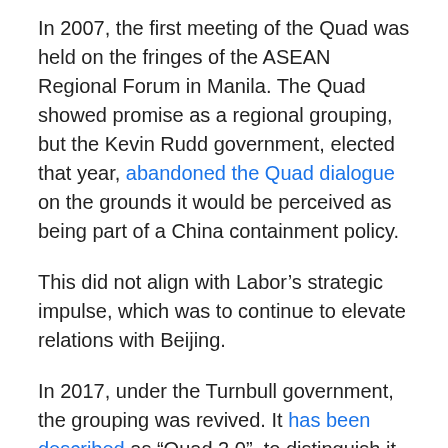In 2007, the first meeting of the Quad was held on the fringes of the ASEAN Regional Forum in Manila. The Quad showed promise as a regional grouping, but the Kevin Rudd government, elected that year, abandoned the Quad dialogue on the grounds it would be perceived as being part of a China containment policy.
This did not align with Labor's strategic impulse, which was to continue to elevate relations with Beijing.
In 2017, under the Turnbull government, the grouping was revived. It has been described as “Quad 2.0”, to distinguish it from its first iteration.
Since then, participants elevated a dialogue among themselves to defence and foreign minister level. Quad countries have also participated in regular military exercises. However, until last week, when newly elected...